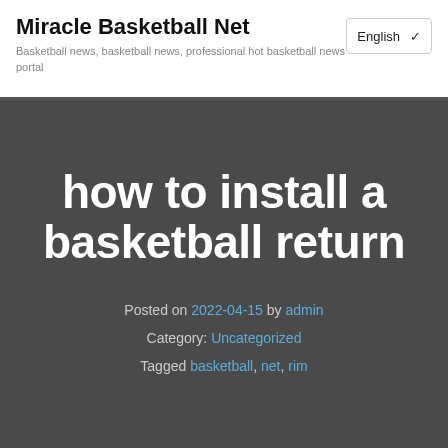Miracle Basketball Net
Basketball news, basketball news, professional hot basketball news portal
how to install a basketball return
Posted on 2022-04-15 by admin
Category: Uncategorized
Tagged basketball, net, rim